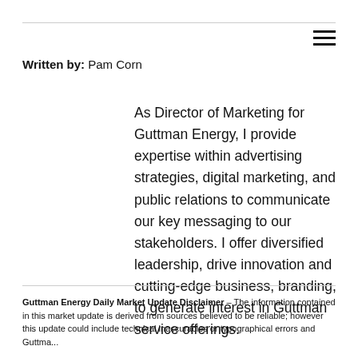Written by: Pam Corn
As Director of Marketing for Guttman Energy, I provide expertise within advertising strategies, digital marketing, and public relations to communicate our key messaging to our stakeholders. I offer diversified leadership, drive innovation and cutting-edge business, branding, to generate interest in Guttman service offerings.
Guttman Energy Daily Market Update Disclaimer – The information contained in this market update is derived from sources believed to be reliable; however this update could include technical inaccuracies or typographical errors and Guttma...